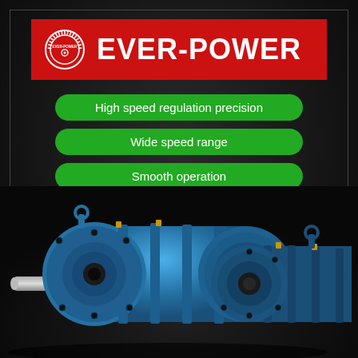[Figure (logo): EVER-POWER brand logo: red rectangular banner with circular gear logo on left and white text EVER-POWER on right]
High speed regulation precision
Wide speed range
Smooth operation
[Figure (photo): Blue industrial planetary gearbox / speed reducer unit with output shaft on left, shown against dark background. Two units partially visible.]